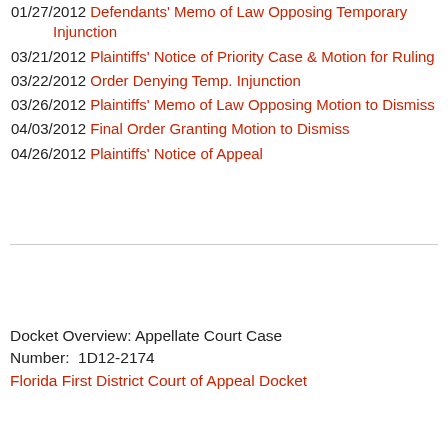01/27/2012 Defendants' Memo of Law Opposing Temporary Injunction
03/21/2012 Plaintiffs' Notice of Priority Case & Motion for Ruling
03/22/2012 Order Denying Temp. Injunction
03/26/2012 Plaintiffs' Memo of Law Opposing Motion to Dismiss
04/03/2012 Final Order Granting Motion to Dismiss
04/26/2012 Plaintiffs' Notice of Appeal
Docket Overview: Appellate Court Case Number:  1D12-2174
Florida First District Court of Appeal Docket